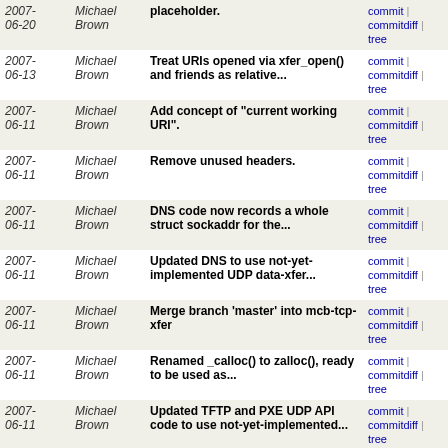| Date | Author | Message | Links |
| --- | --- | --- | --- |
| 2007-06-20 | Michael Brown | placeholder. | commit | commitdiff | tree |
| 2007-06-13 | Michael Brown | Treat URIs opened via xfer_open() and friends as relative... | commit | commitdiff | tree |
| 2007-06-11 | Michael Brown | Add concept of "current working URI". | commit | commitdiff | tree |
| 2007-06-11 | Michael Brown | Remove unused headers. | commit | commitdiff | tree |
| 2007-06-11 | Michael Brown | DNS code now records a whole struct sockaddr for the... | commit | commitdiff | tree |
| 2007-06-11 | Michael Brown | Updated DNS to use not-yet-implemented UDP data-xfer... | commit | commitdiff | tree |
| 2007-06-11 | Michael Brown | Merge branch 'master' into mcb-tcp-xfer | commit | commitdiff | tree |
| 2007-06-11 | Michael Brown | Renamed _calloc() to zalloc(), ready to be used as... | commit | commitdiff | tree |
| 2007-06-11 | Michael Brown | Updated TFTP and PXE UDP API code to use not-yet-implemented... | commit | commitdiff | tree |
| 2007-06-11 | Michael Brown | Add concept of transfer metadata, to be used by UDP... | commit | commitdiff | tree |
| 2007-06-10 | Michael Brown | Merge branch 'master' into mcb-tcp-xfer | commit | commitdiff | tree |
| 2007-06-10 | Michael Brown | Add missing call to free_iob(). | commit | commitdiff | tree |
| 2007-06-09 | Michael Brown | Merge branch 'master' into mcb-tcp-xfer | commit | commitdiff | tree |
| 2007-06-09 | Michael Brown | Add our own trivial version of stdarg.h. This makes | commit | commitdiff | tree |